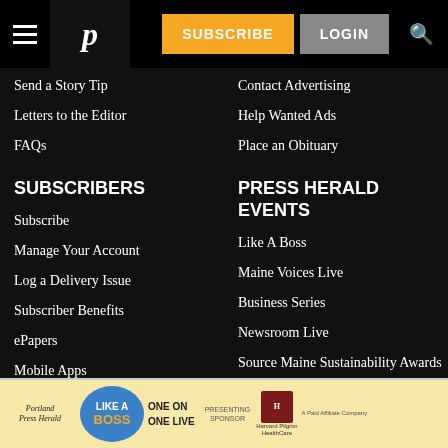Portland Press Herald header with hamburger menu, logo, SUBSCRIBE and LOGIN buttons, search icon
Send a Story Tip
Contact Advertising
Letters to the Editor
Help Wanted Ads
FAQs
Place an Obituary
SUBSCRIBERS
PRESS HERALD EVENTS
Subscribe
Like A Boss
Manage Your Account
Maine Voices Live
Log a Delivery Issue
Business Series
Subscriber Benefits
Newsroom Live
ePapers
Source Maine Sustainability Awards
Mobile Apps
[Figure (advertisement): Portland Press Herald 'Like A Boss One On One Live' ad banner with Harvard Pilgrim Health Care presenting sponsor logo]